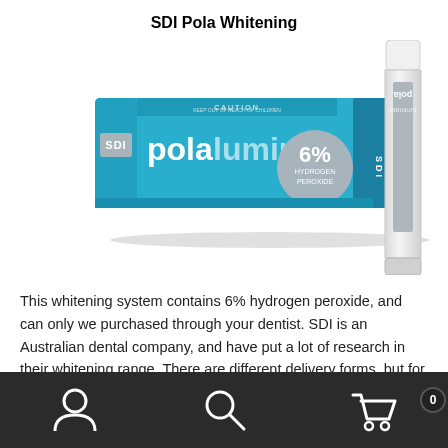SDI Pola Whitening
[Figure (photo): SDI Pola Luminate tooth whitening product — a blue box labeled 'SDI pola luminate 6% hydrogen peroxide' and a white pen/applicator]
This whitening system contains 6% hydrogen peroxide, and can only we purchased through your dentist. SDI is an Australian dental company, and have put a lot of research in their whitening range. There are different delivery forms, but for this experiment the pola luminate will be used. This is a paint on tooth whitening gel and is
Navigation bar with user, search, and cart icons